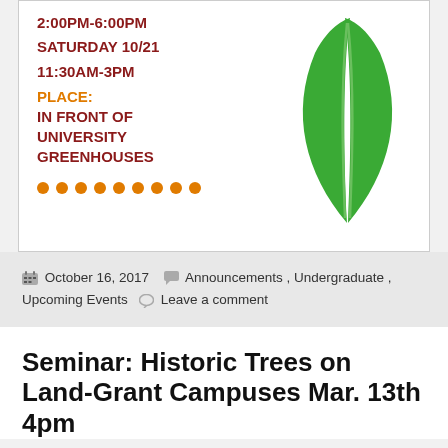[Figure (illustration): Event flyer card with schedule times and place text on the left, and a green stylized plant/leaf logo on the right, with orange decorative dots at the bottom]
October 16, 2017   Announcements, Undergraduate, Upcoming Events   Leave a comment
Seminar: Historic Trees on Land-Grant Campuses Mar. 13th 4pm